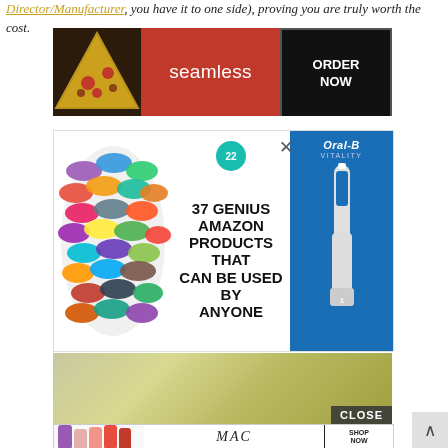you are truly worth the cost.
[Figure (screenshot): Seamless food delivery advertisement banner with pizza image on left, Seamless logo in red center, and ORDER NOW button on right with dark background]
[Figure (infographic): Advertisement: 37 Genius Amazon Products That Can Be Used By Anyone, with colorful scrunchies on left, text in center with teal badge showing 22, and Oral-B Vitality electric toothbrush product on right with close X button]
[Figure (photo): Partial photo of a room wall with olive/yellow-green color gradient, showing CLOSE button overlay]
[Figure (screenshot): MAC cosmetics advertisement with lipsticks on left, MAC italic logo, and SHOP NOW button on right]